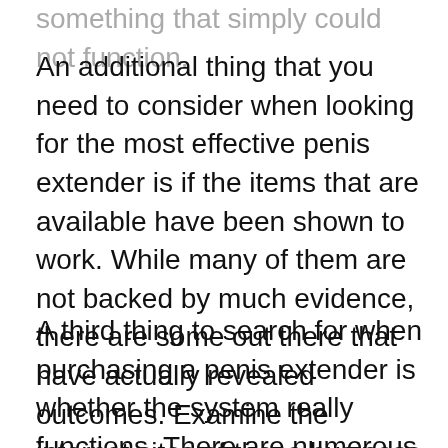something that simply could not function.
An additional thing that you need to consider when looking for the most effective penis extender is if the items that are available have been shown to work. While many of them are not backed by much evidence, there are some out there that have actually revealed outcomes. Examine the internet sites of these business to see what their endorsements are.
A third thing to search for when purchasing a penis extender is whether the system really functions. There are numerous products available that promise excellent outcomes, but only a few that really deliver on this pledge.